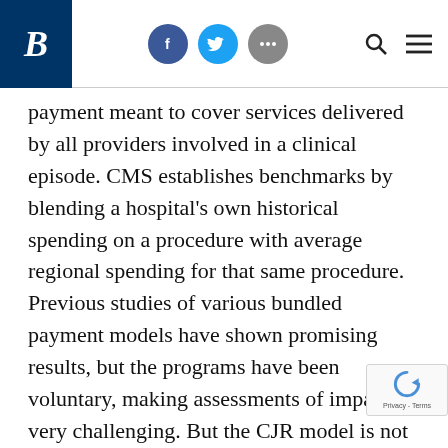B [Brookings logo] — Facebook, Twitter, More icons — Search, Menu
payment meant to cover services delivered by all providers involved in a clinical episode. CMS establishes benchmarks by blending a hospital's own historical spending on a procedure with average regional spending for that same procedure. Previous studies of various bundled payment models have shown promising results, but the programs have been voluntary, making assessments of impact very challenging. But the CJR model is not voluntary; it includes all hospitals in randomly selected metropolitan areas. On the positive side, the new study finds that metropolitan statistical areas (MSAs) participating in CJR were 2.9 percent l likely to discharge patients to post-acute care (PAC)